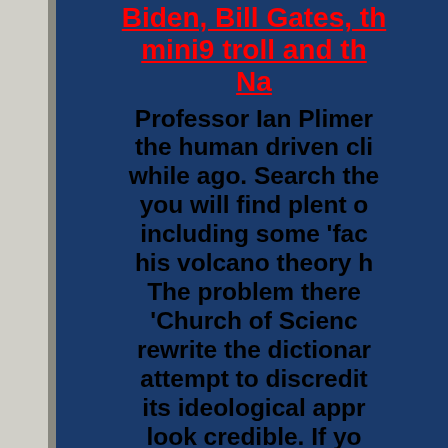Biden, Bill Gates, the mini9 troll and the Na...
Professor Ian Plimer... the human driven cli... while ago. Search the... you will find plent o... including some 'fac... his volcano theory h... The problem there... 'Church of Scienc... rewrite the dictionar... attempt to discredit ... its ideological appr... look credible. If yo... book you will agr...